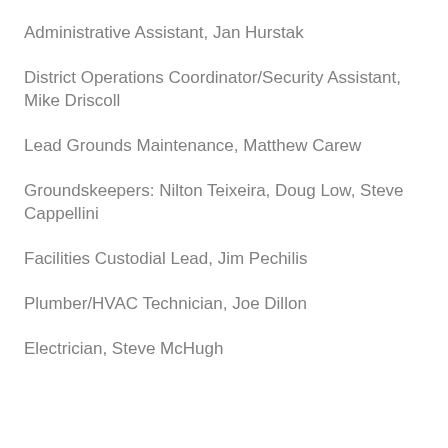Administrative Assistant, Jan Hurstak
District Operations Coordinator/Security Assistant, Mike Driscoll
Lead Grounds Maintenance, Matthew Carew
Groundskeepers: Nilton Teixeira, Doug Low, Steve Cappellini
Facilities Custodial Lead, Jim Pechilis
Plumber/HVAC Technician, Joe Dillon
Electrician, Steve McHugh